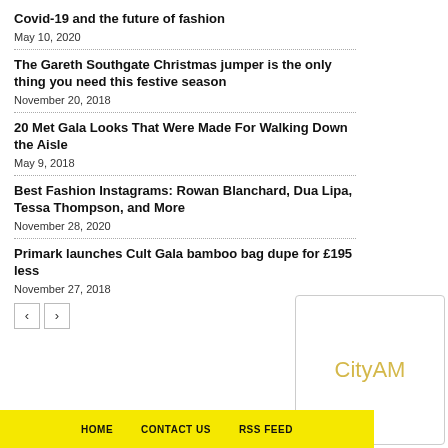Covid-19 and the future of fashion
May 10, 2020
The Gareth Southgate Christmas jumper is the only thing you need this festive season
November 20, 2018
20 Met Gala Looks That Were Made For Walking Down the Aisle
May 9, 2018
Best Fashion Instagrams: Rowan Blanchard, Dua Lipa, Tessa Thompson, and More
November 28, 2020
Primark launches Cult Gala bamboo bag dupe for £195 less
November 27, 2018
[Figure (logo): CityAM logo in a rounded rectangle box]
HOME   CONTACT US   RSS FEED